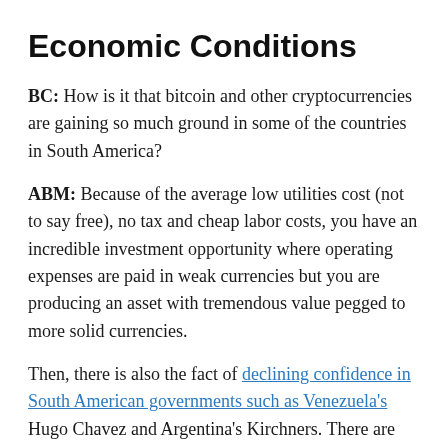Economic Conditions
BC: How is it that bitcoin and other cryptocurrencies are gaining so much ground in some of the countries in South America?
ABM: Because of the average low utilities cost (not to say free), no tax and cheap labor costs, you have an incredible investment opportunity where operating expenses are paid in weak currencies but you are producing an asset with tremendous value pegged to more solid currencies.
Then, there is also the fact of declining confidence in South American governments such as Venezuela's Hugo Chavez and Argentina's Kirchners. There are two main